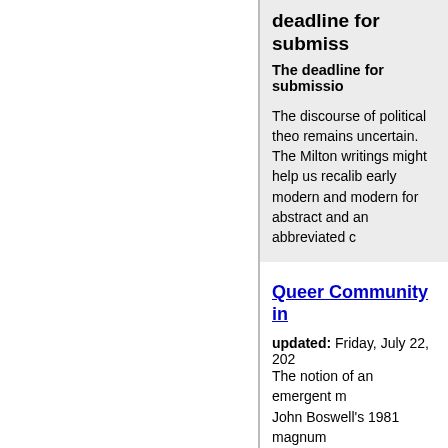deadline for submiss
The deadline for submissio
The discourse of political theo remains uncertain. The Milton writings might help us recalib early modern and modern for abstract and an abbreviated c
Queer Community in
updated: Friday, July 22, 202
Tim Wingard
deadline for submiss
The notion of an emergent m John Boswell's 1981 magnum